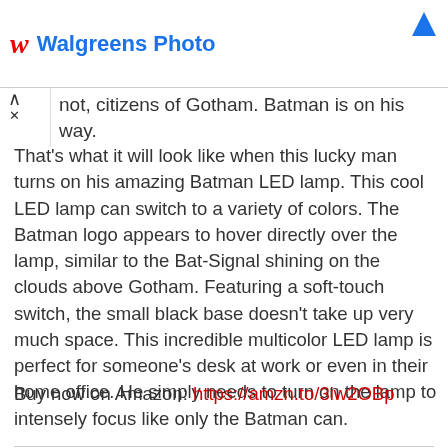Walgreens Photo
not, citizens of Gotham. Batman is on his way.
That's what it will look like when this lucky man turns on his amazing Batman LED lamp. This cool LED lamp can switch to a variety of colors. The Batman logo appears to hover directly over the lamp, similar to the Bat-Signal shining on the clouds above Gotham. Featuring a soft-touch switch, the small black base doesn't take up very much space. This incredible multicolor LED lamp is perfect for someone's desk at work or even in their home office. He simply needs to turn on the lamp to intensely focus like only the Batman can.
Buy now on Amazon: https://amzn.to/3iw2OBp
Published: October 01, 2020 | Views: 4824 hits
Gifts For Men  Unique Gifts